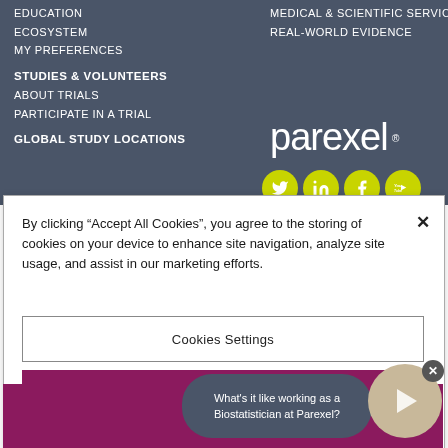EDUCATION
ECOSYSTEM
MY PREFERENCES
MEDICAL & SCIENTIFIC SERVICES
REAL-WORLD EVIDENCE
STUDIES & VOLUNTEERS
ABOUT TRIALS
PARTICIPATE IN A TRIAL
GLOBAL STUDY LOCATIONS
[Figure (logo): Parexel logo in white text on dark background]
[Figure (infographic): Social media icons: Twitter, LinkedIn, Facebook, YouTube in yellow circles]
By clicking “Accept All Cookies”, you agree to the storing of cookies on your device to enhance site navigation, analyze site usage, and assist in our marketing efforts.
Cookies Settings
Reject All
What's it like working as a Biostatistician at Parexel?
[Figure (photo): Person thumbnail for video preview]